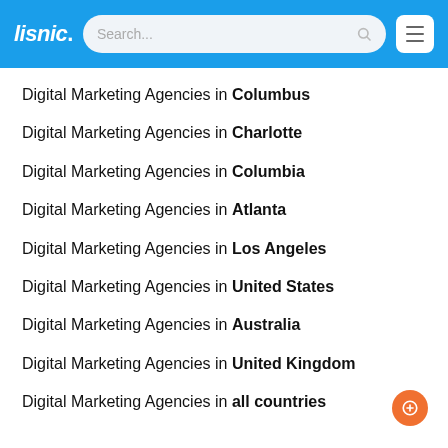lisnic. [Search...] [menu]
Digital Marketing Agencies in Columbus
Digital Marketing Agencies in Charlotte
Digital Marketing Agencies in Columbia
Digital Marketing Agencies in Atlanta
Digital Marketing Agencies in Los Angeles
Digital Marketing Agencies in United States
Digital Marketing Agencies in Australia
Digital Marketing Agencies in United Kingdom
Digital Marketing Agencies in all countries